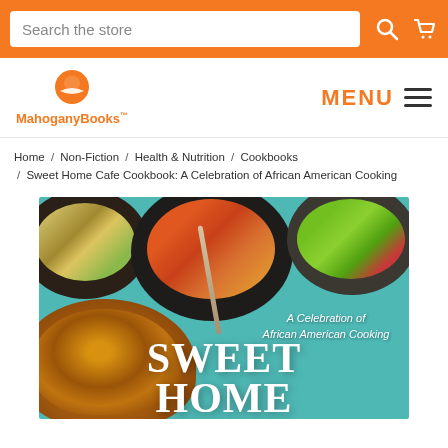Search the store
[Figure (logo): MahoganyBooks logo - orange circular icon with book design, orange text 'MahoganyBooks']
Home / Non-Fiction / Health & Nutrition / Cookbooks / Sweet Home Cafe Cookbook: A Celebration of African American Cooking
[Figure (photo): Book cover of 'Sweet Home Cafe Cookbook: A Celebration of African American Cooking' showing bowls of food on teal background with fried chicken in lower left]